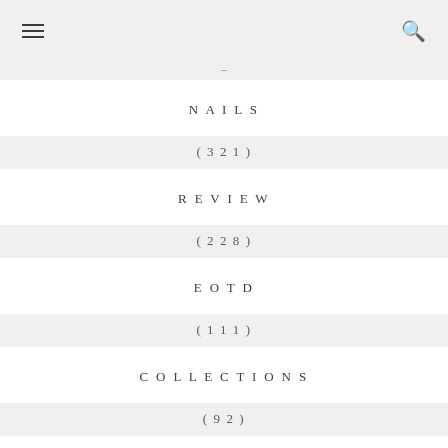navigation menu with hamburger and search icons
NAILS (321)
REVIEW (228)
EOTD (111)
COLLECTIONS (92)
INDIE POLISH (82)